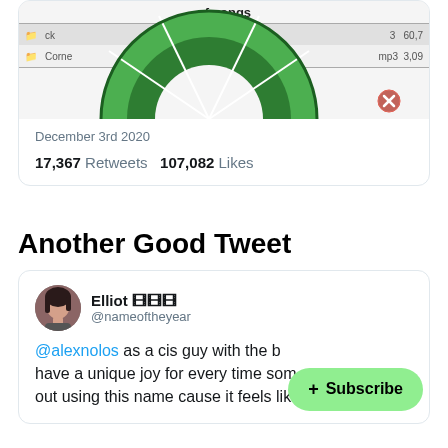[Figure (screenshot): Partial screenshot of a music app showing a green donut/pie chart labeled 'of songs' with file type entries including 'Corne' and 'mp3' with values like 60.7 and 3,09]
December 3rd 2020
17,367 Retweets  107,082 Likes
Another Good Tweet
[Figure (screenshot): Tweet by Elliot @nameoftheyear: '@alexnolos as a cis guy with the b... have a unique joy for every time som... out using this name cause it feels like my home']
Elliot 🎞🎞🎞 @nameoftheyear
@alexnolos as a cis guy with the b have a unique joy for every time som out using this name cause it feels like my home